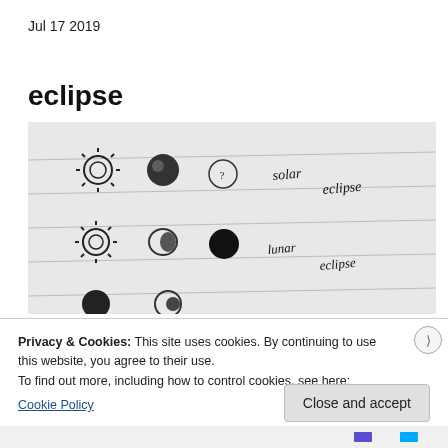Jul 17 2019
eclipse
[Figure (photo): Black and white photo of handwritten notebook page showing drawings of solar and lunar eclipses with labels 'solar eclipse' and 'lunar eclipse' written in cursive]
Privacy & Cookies: This site uses cookies. By continuing to use this website, you agree to their use.
To find out more, including how to control cookies, see here:
Cookie Policy
Close and accept